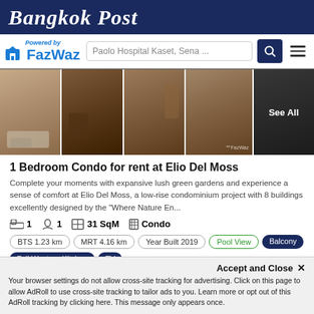Bangkok Post
Powered by FazWaz | Paolo Hospital Kaset, Sena ...
[Figure (photo): Photo strip of 5 condo interior images with See All overlay on last image]
1 Bedroom Condo for rent at Elio Del Moss
Complete your moments with expansive lush green gardens and experience a sense of comfort at Elio Del Moss, a low-rise condominium project with 8 buildings excellently designed by the "Where Nature En...
1  1  31 SqM  Condo
BTS 1.23 km  MRT 4.16 km  Year Built 2019  Pool View  Balcony  Full Western Kitchen  TV
Min. Rental Duration: At least one year
Accept and Close ×
Your browser settings do not allow cross-site tracking for advertising. Click on this page to allow AdRoll to use cross-site tracking to tailor ads to you. Learn more or opt out of this AdRoll tracking by clicking here. This message only appears once.